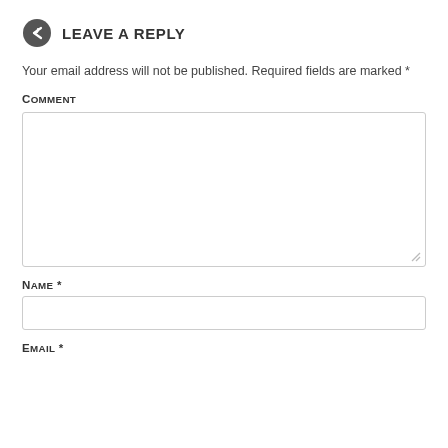LEAVE A REPLY
Your email address will not be published. Required fields are marked *
Comment
Name *
Email *